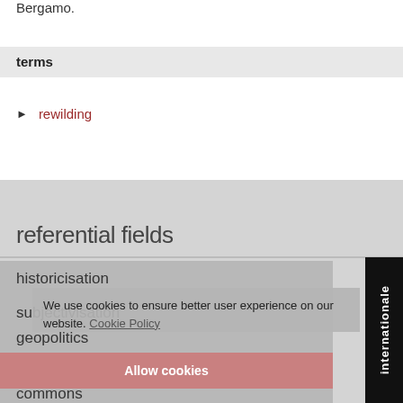Bergamo.
terms
▶ rewilding
referential fields
historicisation
subjectivisation
geopolitics
constituencies
commons
We use cookies to ensure better user experience on our website. Cookie Policy
Allow cookies
internationale